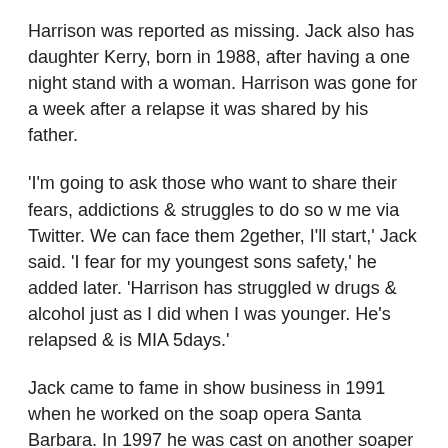Harrison was reported as missing. Jack also has daughter Kerry, born in 1988, after having a one night stand with a woman. Harrison was gone for a week after a relapse it was shared by his father.
'I'm going to ask those who want to share their fears, addictions & struggles to do so w me via Twitter. We can face them 2gether, I'll start,' Jack said. 'I fear for my youngest sons safety,' he added later. 'Harrison has struggled w drugs & alcohol just as I did when I was younger. He's relapsed & is MIA 5days.'
Jack came to fame in show business in 1991 when he worked on the soap opera Santa Barbara. In 1997 he was cast on another soaper Sunset Beach then in 1994 he landed the role of Dr Peter Burns on Melrose Place where he met his future girlfriend Heather Locklear.